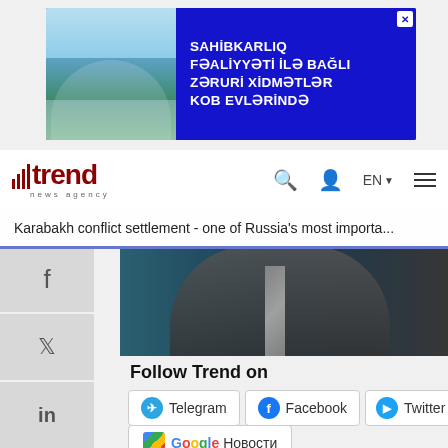[Figure (photo): Advertisement banner for KOB Evlərində (SME Houses) showing a building photo on the left and blue background with Azerbaijani text on the right]
[Figure (logo): Trend News Agency logo with red bar chart icon and 'trend' text, plus navigation icons for search, user, language (EN), and hamburger menu]
Karabakh conflict settlement - one of Russia's most importa...
[Figure (photo): Photo of a person in a dark suit with striped tie, social media share buttons (Facebook, Twitter, LinkedIn, VK, Odnoklassniki) on the left sidebar]
Follow Trend on
Telegram  Facebook  Twitter
Google Новости